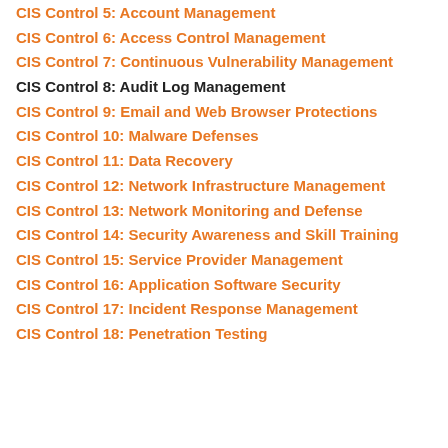CIS Control 5: Account Management
CIS Control 6: Access Control Management
CIS Control 7: Continuous Vulnerability Management
CIS Control 8: Audit Log Management
CIS Control 9: Email and Web Browser Protections
CIS Control 10: Malware Defenses
CIS Control 11: Data Recovery
CIS Control 12: Network Infrastructure Management
CIS Control 13: Network Monitoring and Defense
CIS Control 14: Security Awareness and Skill Training
CIS Control 15: Service Provider Management
CIS Control 16: Application Software Security
CIS Control 17: Incident Response Management
CIS Control 18: Penetration Testing